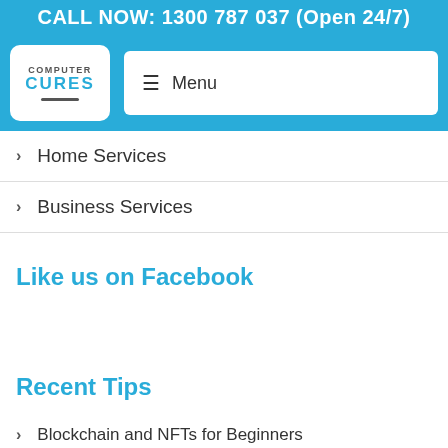CALL NOW: 1300 787 037 (Open 24/7)
[Figure (logo): Computer Cures logo — white rounded rectangle with 'COMPUTER CURES' text and a monitor icon]
≡ Menu
> Home Services
> Business Services
Like us on Facebook
Recent Tips
> Blockchain and NFTs for Beginners
> Choosing the Best Virtual Private Network for Security